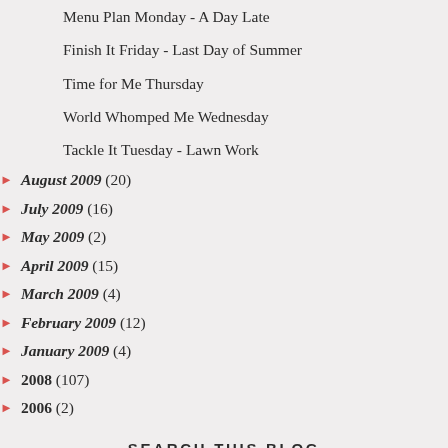Menu Plan Monday - A Day Late
Finish It Friday - Last Day of Summer
Time for Me Thursday
World Whomped Me Wednesday
Tackle It Tuesday - Lawn Work
► August 2009 (20)
► July 2009 (16)
► May 2009 (2)
► April 2009 (15)
► March 2009 (4)
► February 2009 (12)
► January 2009 (4)
► 2008 (107)
► 2006 (2)
SEARCH THIS BLOG